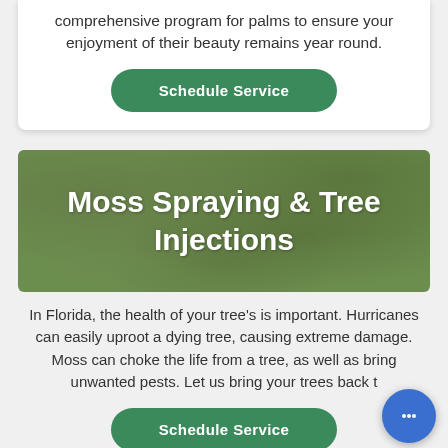comprehensive program for palms to ensure your enjoyment of their beauty remains year round.
Schedule Service
Moss Spraying & Tree Injections
In Florida, the health of your tree's is important. Hurricanes can easily uproot a dying tree, causing extreme damage. Moss can choke the life from a tree, as well as bring unwanted pests. Let us bring your trees back t
Schedule Service